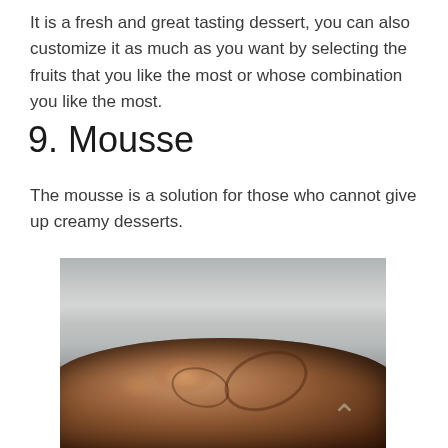It is a fresh and great tasting dessert, you can also customize it as much as you want by selecting the fruits that you like the most or whose combination you like the most.
9. Mousse
The mousse is a solution for those who cannot give up creamy desserts.
[Figure (photo): Close-up photograph of a chocolate mousse dessert viewed from above, showing a dark brown, richly textured surface with a swirled pattern, against a blurred grey background.]